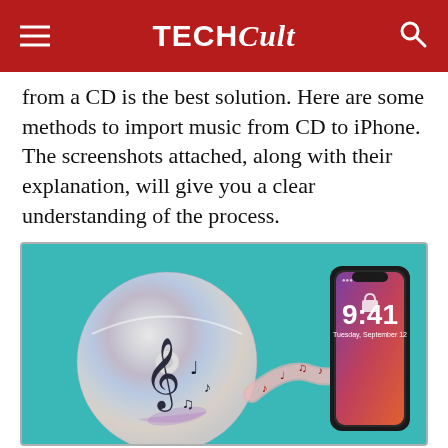TECHCult
from a CD is the best solution. Here are some methods to import music from CD to iPhone. The screenshots attached, along with their explanation, will give you a clear understanding of the process.
[Figure (illustration): Illustration showing a CD with musical notes flowing via a wavy ribbon to an iPhone (showing 9:41 Tuesday, September 12 on lock screen) on a teal background.]